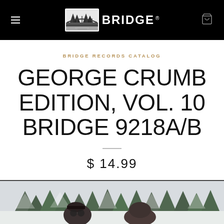BRIDGE RECORDS — navigation bar with logo and cart
BRIDGE RECORDS CATALOG
GEORGE CRUMB EDITION, VOL. 10 BRIDGE 9218A/B
$ 14.99
[Figure (photo): Bottom portion of a photograph showing people outdoors in a snowy winter scene with snow-covered evergreen trees in the background]